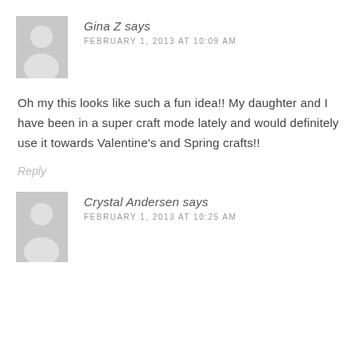[Figure (illustration): Gray placeholder avatar silhouette for user Gina Z]
Gina Z says
FEBRUARY 1, 2013 AT 10:09 AM
Oh my this looks like such a fun idea!! My daughter and I have been in a super craft mode lately and would definitely use it towards Valentine's and Spring crafts!!
Reply
[Figure (illustration): Gray placeholder avatar silhouette for user Crystal Andersen]
Crystal Andersen says
FEBRUARY 1, 2013 AT 10:25 AM